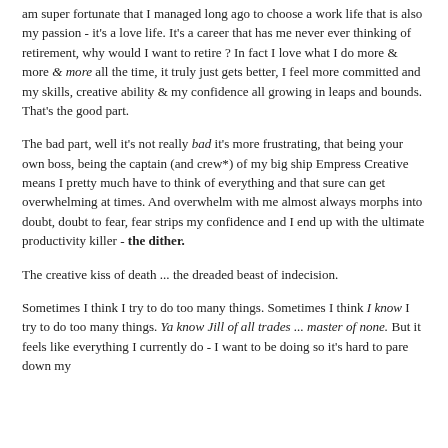am super fortunate that I managed long ago to choose a work life that is also my passion - it's a love life. It's a career that has me never ever thinking of retirement, why would I want to retire ? In fact I love what I do more & more & more all the time, it truly just gets better, I feel more committed and my skills, creative ability & my confidence all growing in leaps and bounds. That's the good part.
The bad part, well it's not really bad it's more frustrating, that being your own boss, being the captain (and crew*) of my big ship Empress Creative means I pretty much have to think of everything and that sure can get overwhelming at times. And overwhelm with me almost always morphs into doubt, doubt to fear, fear strips my confidence and I end up with the ultimate productivity killer - the dither.
The creative kiss of death ... the dreaded beast of indecision.
Sometimes I think I try to do too many things. Sometimes I think I know I try to do too many things. Ya know Jill of all trades ... master of none. But it feels like everything I currently do - I want to be doing so it's hard to pare down my